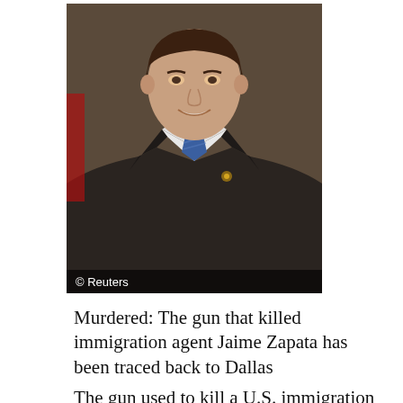[Figure (photo): Portrait photo of a man in a dark suit with a blue tie and a small pin on the lapel, smiling. Photo credit: Reuters.]
Murdered: The gun that killed immigration agent Jaime Zapata has been traced back to Dallas
The gun used to kill a U.S. immigration agent in